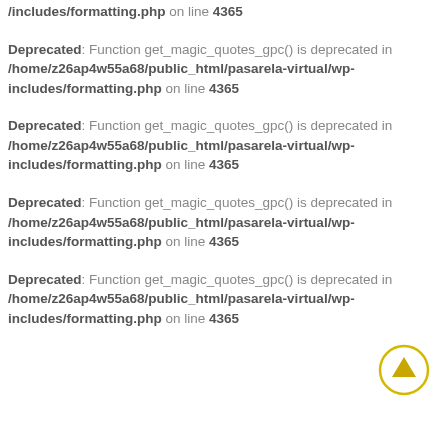/includes/formatting.php on line 4365
Deprecated: Function get_magic_quotes_gpc() is deprecated in /home/z26ap4w55a68/public_html/pasarela-virtual/wp-includes/formatting.php on line 4365
Deprecated: Function get_magic_quotes_gpc() is deprecated in /home/z26ap4w55a68/public_html/pasarela-virtual/wp-includes/formatting.php on line 4365
Deprecated: Function get_magic_quotes_gpc() is deprecated in /home/z26ap4w55a68/public_html/pasarela-virtual/wp-includes/formatting.php on line 4365
Deprecated: Function get_magic_quotes_gpc() is deprecated in /home/z26ap4w55a68/public_html/pasarela-virtual/wp-includes/formatting.php on line 4365
[Figure (illustration): Yellow circle with upward arrow icon (scroll-to-top button)]